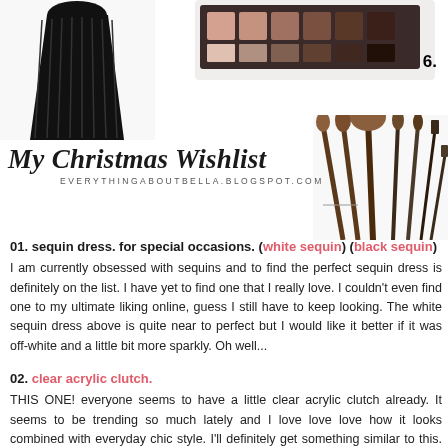[Figure (photo): Black pleated dress partial view, top left]
[Figure (photo): Eyeshadow palette with multiple shades, numbered 6.]
[Figure (photo): Set of makeup brushes fanned out, right side]
My Christmas Wishlist
EVERYTHINGABOUTBELLA.BLOGSPOT.COM
01. sequin dress. for special occasions. (white sequin) (black sequin)
I am currently obsessed with sequins and to find the perfect sequin dress is definitely on the list. I have yet to find one that I really love. I couldn't even find one to my ultimate liking online, guess I still have to keep looking. The white sequin dress above is quite near to perfect but I would like it better if it was off-white and a little bit more sparkly. Oh well...
02. clear acrylic clutch.
THIS ONE! everyone seems to have a little clear acrylic clutch already. It seems to be trending so much lately and I love love love how it looks combined with everyday chic style. I'll definitely get something similar to this. Maybe in a week or so.